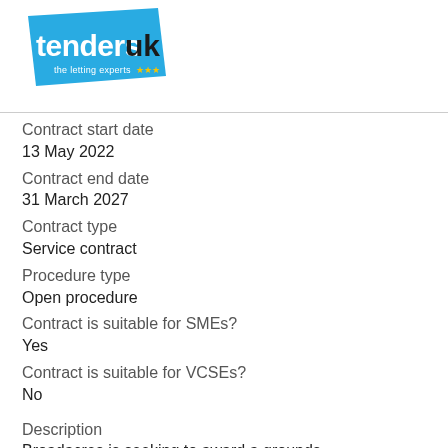[Figure (logo): Tenders UK logo - blue parallelogram shape with white text 'tenders' and black text 'uk', tagline 'the letting experts' with star icons]
Contract start date
13 May 2022
Contract end date
31 March 2027
Contract type
Service contract
Procedure type
Open procedure
Contract is suitable for SMEs?
Yes
Contract is suitable for VCSEs?
No
Description
Broadacres is seeking to award a grounds